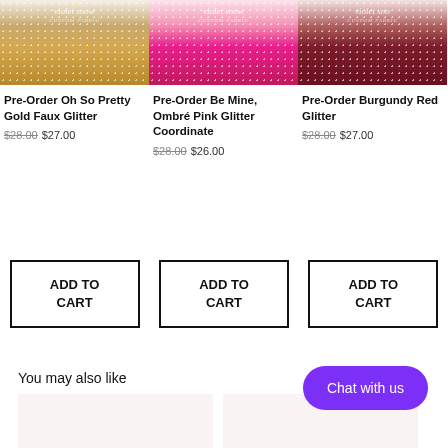[Figure (photo): Product image: Pre-Order Oh So Pretty Gold Faux Glitter fabric swatch with violet snow custom fabric logo]
[Figure (photo): Product image: Pre-Order Be Mine, Ombré Pink Glitter Coordinate fabric swatch with violet snow custom fabric logo]
[Figure (photo): Product image: Pre-Order Burgundy Red Glitter fabric swatch with violet snow custom fabric logo]
Pre-Order Oh So Pretty Gold Faux Glitter
$28.00 $27.00
Pre-Order Be Mine, Ombré Pink Glitter Coordinate
$28.00 $26.00
Pre-Order Burgundy Red Glitter
$28.00 $27.00
ADD TO CART
ADD TO CART
ADD TO CART
You may also like
Chat with us